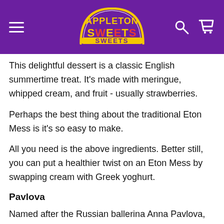Appleton Sweets - navigation header with logo, search, and cart icons
This delightful dessert is a classic English summertime treat. It's made with meringue, whipped cream, and fruit - usually strawberries.
Perhaps the best thing about the traditional Eton Mess is it's so easy to make.
All you need is the above ingredients. Better still, you can put a healthier twist on an Eton Mess by swapping cream with Greek yoghurt.
Pavlova
Named after the Russian ballerina Anna Pavlova, this dish is a meringue-based dessert often served with fresh fruit.
Pavlovas are sweet, creamy, and a traditional British dessert which is ideal as a BBQ dessert.